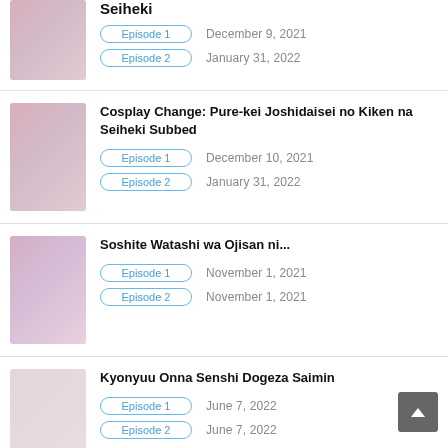Seiheki (partial title, top cropped)
Episode 1 — December 9, 2021
Episode 2 — January 31, 2022
Cosplay Change: Pure-kei Joshidaisei no Kiken na Seiheki Subbed
Episode 1 — December 10, 2021
Episode 2 — January 31, 2022
Soshite Watashi wa Ojisan ni...
Episode 1 — November 1, 2021
Episode 2 — November 1, 2021
Kyonyuu Onna Senshi Dogeza Saimin
Episode 1 — June 7, 2022
Episode 2 — June 7, 2022